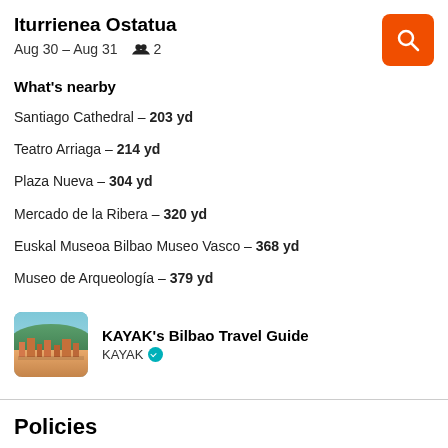Iturrienea Ostatua
Aug 30 – Aug 31   2
What's nearby
Santiago Cathedral – 203 yd
Teatro Arriaga – 214 yd
Plaza Nueva – 304 yd
Mercado de la Ribera – 320 yd
Euskal Museoa Bilbao Museo Vasco – 368 yd
Museo de Arqueología – 379 yd
[Figure (photo): Thumbnail photo of Bilbao cityscape used for KAYAK's Bilbao Travel Guide card]
KAYAK's Bilbao Travel Guide
KAYAK
Policies